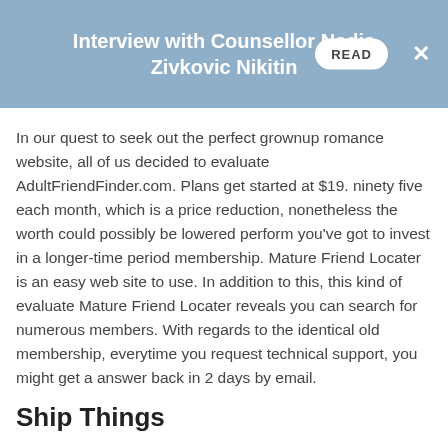Interview with Counsellor Nadja Zivkovic Nikitin
In our quest to seek out the perfect grownup romance website, all of us decided to evaluate AdultFriendFinder.com. Plans get started at $19. ninety five each month, which is a price reduction, nonetheless the worth could possibly be lowered perform you've got to invest in a longer-time period membership. Mature Friend Locater is an easy web site to use. In addition to this, this kind of evaluate Mature Friend Locater reveals you can search for numerous members. With regards to the identical old membership, everytime you request technical support, you might get a answer back in 2 days by email.
Ship Things
There are plenty of users who aren't easy on the eyes. Because of the huge user base, there are many local residences irrespective of your location. This review w...